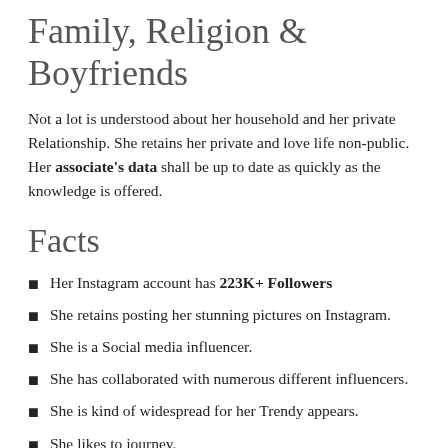Family, Religion & Boyfriends
Not a lot is understood about her household and her private Relationship. She retains her private and love life non-public. Her associate's data shall be up to date as quickly as the knowledge is offered.
Facts
Her Instagram account has 223K+ Followers
She retains posting her stunning pictures on Instagram.
She is a Social media influencer.
She has collaborated with numerous different influencers.
She is kind of widespread for her Trendy appears.
She likes to journey.
She has managed to place her ardour right into a profitable